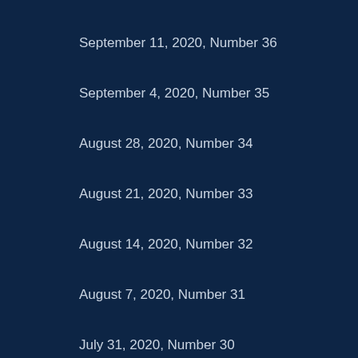September 11, 2020, Number 36
September 4, 2020, Number 35
August 28, 2020, Number 34
August 21, 2020, Number 33
August 14, 2020, Number 32
August 7, 2020, Number 31
July 31, 2020, Number 30
July 24, 2020, Number 29
July 17, 2020, Number 28